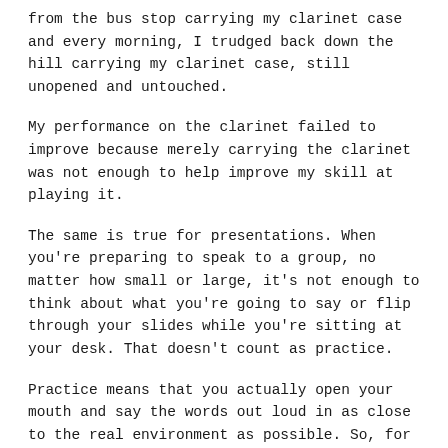from the bus stop carrying my clarinet case and every morning, I trudged back down the hill carrying my clarinet case, still unopened and untouched.
My performance on the clarinet failed to improve because merely carrying the clarinet was not enough to help improve my skill at playing it.
The same is true for presentations. When you're preparing to speak to a group, no matter how small or large, it's not enough to think about what you're going to say or flip through your slides while you're sitting at your desk. That doesn't count as practice.
Practice means that you actually open your mouth and say the words out loud in as close to the real environment as possible. So, for example, if you're going to stand while presenting, stand while practicing. If you're going to present while sitting around a conference table, then practice while sitting around a conference table. The